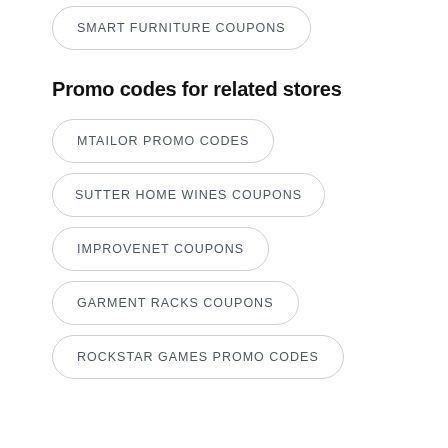SMART FURNITURE COUPONS
Promo codes for related stores
MTAILOR PROMO CODES
SUTTER HOME WINES COUPONS
IMPROVENET COUPONS
GARMENT RACKS COUPONS
ROCKSTAR GAMES PROMO CODES